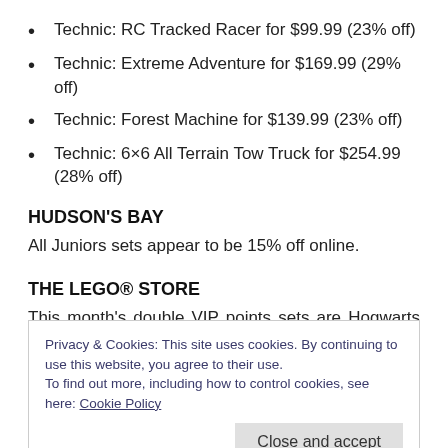Technic: RC Tracked Racer for $99.99 (23% off)
Technic: Extreme Adventure for $169.99 (29% off)
Technic: Forest Machine for $139.99 (23% off)
Technic: 6×6 All Terrain Tow Truck for $254.99 (28% off)
HUDSON'S BAY
All Juniors sets appear to be 15% off online.
THE LEGO® STORE
This month's double VIP points sets are Hogwarts Castle and the Winter Village Fire Station. Unless otherwise
Privacy & Cookies: This site uses cookies. By continuing to use this website, you agree to their use. To find out more, including how to control cookies, see here: Cookie Policy
Close and accept
City: Prison Island Accessory Pack for $14.39